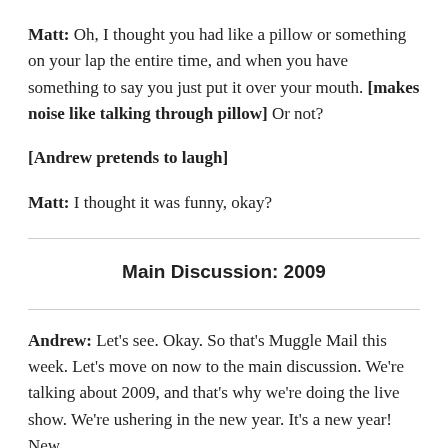Matt: Oh, I thought you had like a pillow or something on your lap the entire time, and when you have something to say you just put it over your mouth. [makes noise like talking through pillow] Or not?
[Andrew pretends to laugh]
Matt: I thought it was funny, okay?
Main Discussion: 2009
Andrew: Let’s see. Okay. So that’s Muggle Mail this week. Let’s move on now to the main discussion. We’re talking about 2009, and that’s why we’re doing the live show. We’re ushering in the new year. It’s a new year! New